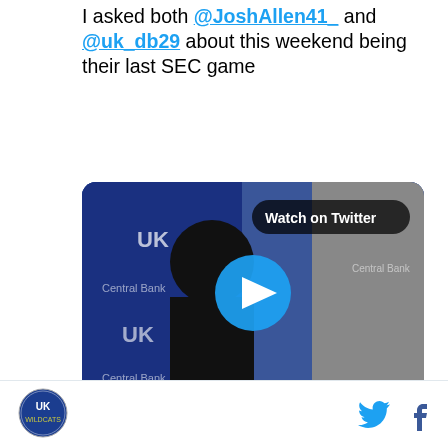I asked both @JoshAllen41_ and @uk_db29 about this weekend being their last SEC game
[Figure (screenshot): Twitter/X embedded video thumbnail showing a UK basketball player at a press conference with a blue Kentucky Wildcats backdrop, a play button overlay, and a 'Watch on Twitter' label]
12:18 AM · Nov 8, 2018
Read the full conversation on Twitter
♥ 2   Reply   Copy link
[Figure (logo): UK/Kentucky circular logo at bottom left]
[Figure (logo): Twitter bird icon and Facebook f icon at bottom right]